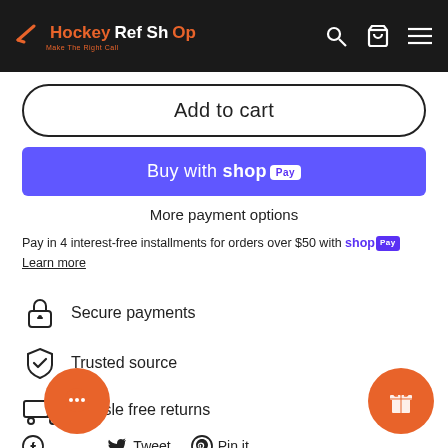Hockey Ref Shop — Make The Right Call
Add to cart
Buy with shop Pay
More payment options
Pay in 4 interest-free installments for orders over $50 with shop Pay Learn more
Secure payments
Trusted source
Hassle free returns
Tweet  Pin it